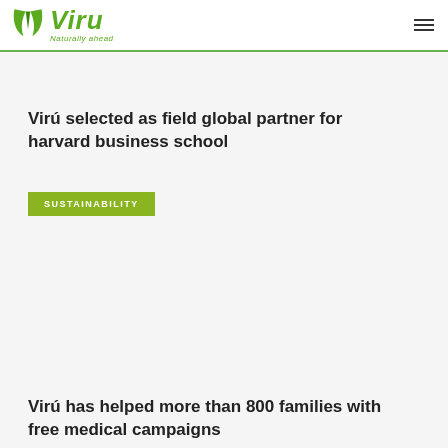Virú Naturally ahead
Virú selected as field global partner for harvard business school
SUSTAINABILITY
Virú has helped more than 800 families with free medical campaigns